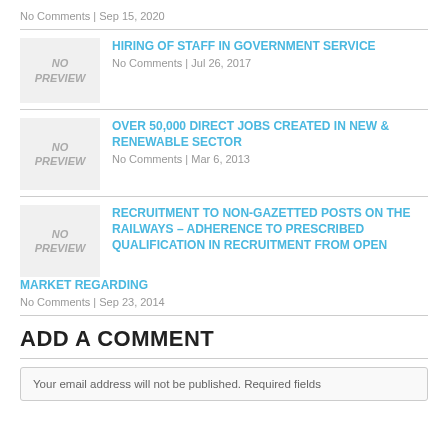No Comments | Sep 15, 2020
HIRING OF STAFF IN GOVERNMENT SERVICE
No Comments | Jul 26, 2017
OVER 50,000 DIRECT JOBS CREATED IN NEW & RENEWABLE SECTOR
No Comments | Mar 6, 2013
RECRUITMENT TO NON-GAZETTED POSTS ON THE RAILWAYS – ADHERENCE TO PRESCRIBED QUALIFICATION IN RECRUITMENT FROM OPEN MARKET REGARDING
No Comments | Sep 23, 2014
ADD A COMMENT
Your email address will not be published. Required fields